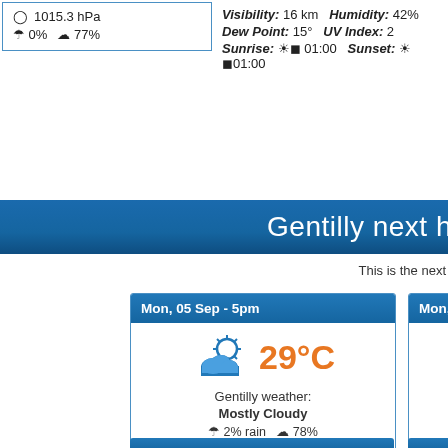1015.3 hPa  0%  77%
Visibility: 16 km  Humidity: 42%  Dew Point: 15°  UV Index: 2  Sunrise: 01:00  Sunset: 01:00
Gentilly next h
This is the next
Mon, 05 Sep - 5pm  29°C  Gentilly weather: Mostly Cloudy  2% rain  78%  Wind Speed: 3 kmh  Wind Gust: 4 kmh
Mon, 05 Sep - 6pm  30°C  Gentilly weather: Mostly Cloudy  4% rain  77%  Wind Speed: 2 kmh  Wind Gust: 3 kmh